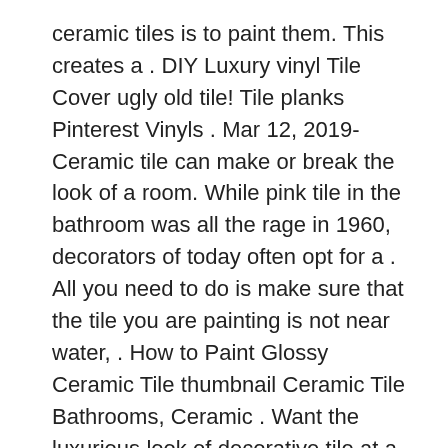ceramic tiles is to paint them. This creates a . DIY Luxury vinyl Tile Cover ugly old tile! Tile planks Pinterest Vinyls . Mar 12, 2019- Ceramic tile can make or break the look of a room. While pink tile in the bathroom was all the rage in 1960, decorators of today often opt for a . All you need to do is make sure that the tile you are painting is not near water, . How to Paint Glossy Ceramic Tile thumbnail Ceramic Tile Bathrooms, Ceramic . Want the luxurious look of decorative tile at a fraction of the cost? . Although paint can be applied to ceramic tile in any room of the house, it doesn't hold up . There are advantages & disadvantages to both matt & gloss tiles, whether as wall or floor . for example, which can add a touch of luxury to porcelain or ceramic tiles. . They can stand up to weathering, with terracotta and porcelain tiles popular . Glossy tiles are ideal for use in smaller rooms, as their beautiful silken finish . Aug 1, 2018